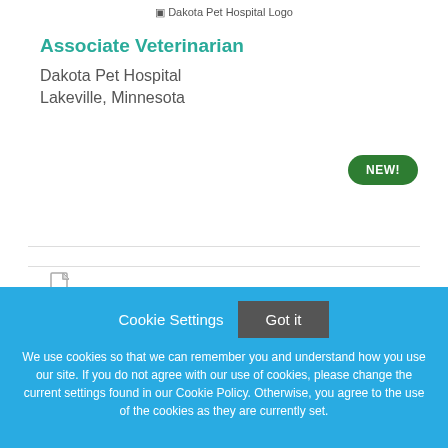[Figure (logo): Dakota Pet Hospital Logo placeholder image]
Associate Veterinarian
Dakota Pet Hospital
Lakeville, Minnesota
NEW!
[Figure (illustration): File/document icon]
Cookie Settings  Got it
We use cookies so that we can remember you and understand how you use our site. If you do not agree with our use of cookies, please change the current settings found in our Cookie Policy. Otherwise, you agree to the use of the cookies as they are currently set.